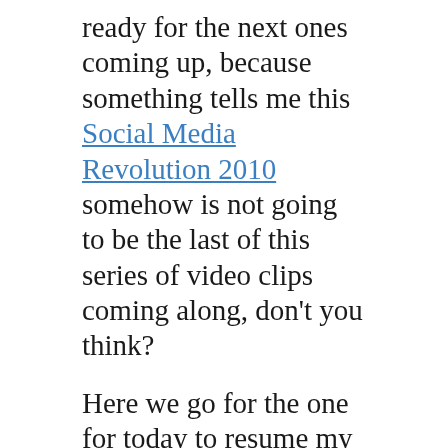ready for the next ones coming up, because something tells me this Social Media Revolution 2010 somehow is not going to be the last of this series of video clips coming along, don't you think?
Here we go for the one for today to resume my regular blogging activities...
Tags: Enterprise 2.0, Boston, #e2conf, e2conf, Barcelona, Spain, Did You Know?, YouTube, Videos, Social Media Revolution, Revolution, Society, Enterprise 2.0, Social Software, Social...